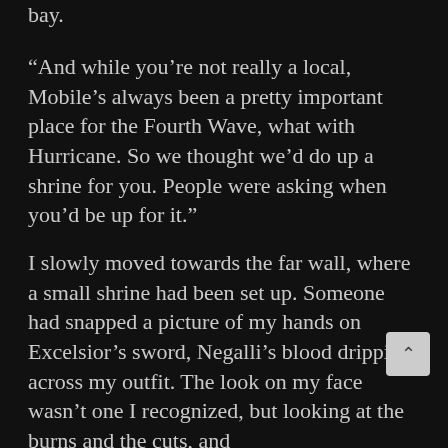bay.
“And while you’re not really a local, Mobile’s always been a pretty important place for the Fourth Wave, what with Hurricane. So we thought we’d do up a shrine for you. People were asking when you’d be up for it.”
I slowly moved towards the far wall, where a small shrine had been set up. Someone had snapped a picture of my hands on Excelsior’s sword, Negalli’s blood dripping across my outfit. The look on my face wasn’t one I recognized, but looking at the burns and the cuts, and